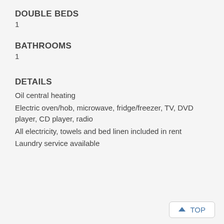DOUBLE BEDS
1
BATHROOMS
1
DETAILS
Oil central heating
Electric oven/hob, microwave, fridge/freezer, TV, DVD player, CD player, radio
All electricity, towels and bed linen included in rent
Laundry service available